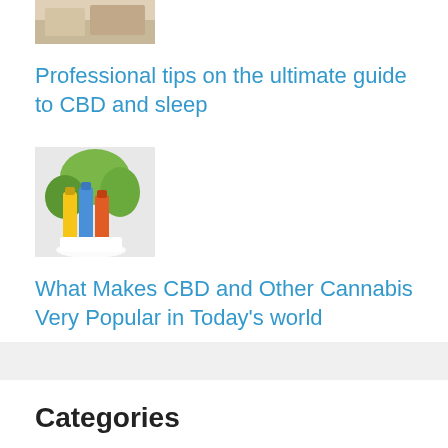[Figure (photo): Partial image at top, appears to be food or lifestyle photo]
Professional tips on the ultimate guide to CBD and sleep
[Figure (photo): CBD oil bottles with green plants in background]
What Makes CBD and Other Cannabis Very Popular in Today’s world
Categories
Blog (90)
Cannabis (4)
CBD & Beauty (1)